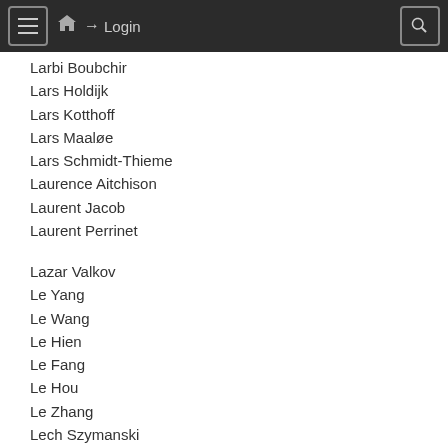≡  🏠  ➔ Login  🔍
Larbi Boubchir
Lars Holdijk
Lars Kotthoff
Lars Maaløe
Lars Schmidt-Thieme
Laurence Aitchison
Laurent Jacob
Laurent Perrinet
Lazar Valkov
Le Yang
Le Wang
Le Hien
Le Fang
Le Hou
Le Zhang
Lech Szymanski
Lechao Xiao
Leda Sari